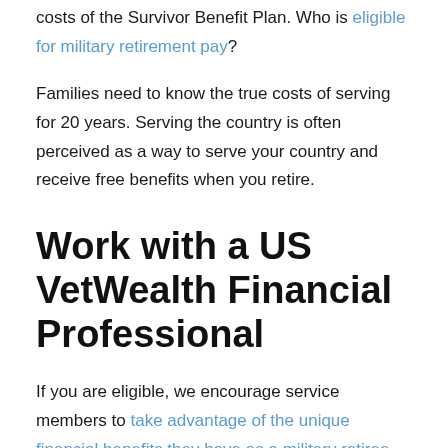costs of the Survivor Benefit Plan. Who is eligible for military retirement pay?
Families need to know the true costs of serving for 20 years. Serving the country is often perceived as a way to serve your country and receive free benefits when you retire.
Work with a US VetWealth Financial Professional
If you are eligible, we encourage service members to take advantage of the unique financial benefits they have as a military retiree. We can help armed forces